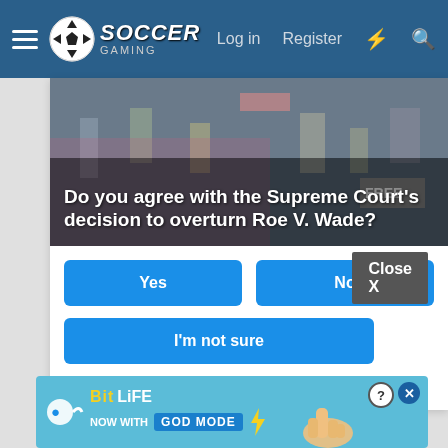Soccer Gaming — Log in | Register
[Figure (screenshot): Poll widget with crowd protest image background showing question 'Do you agree with the Supreme Court's decision to overturn Roe V. Wade?' with Yes, No, and I'm not sure buttons, 337 Votes, Sponsored Ad]
Close X
[Figure (illustration): BitLife advertisement banner — NOW WITH GOD MODE]